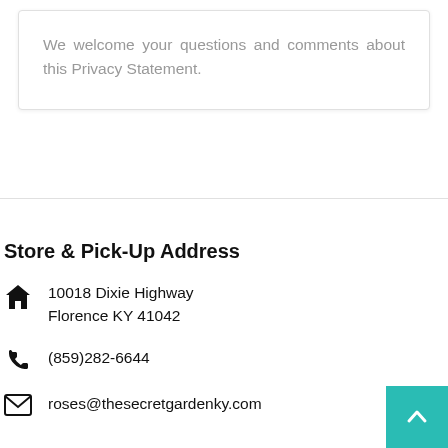We welcome your questions and comments about this Privacy Statement.
Store & Pick-Up Address
10018 Dixie Highway
Florence KY 41042
(859)282-6644
roses@thesecretgardenky.com